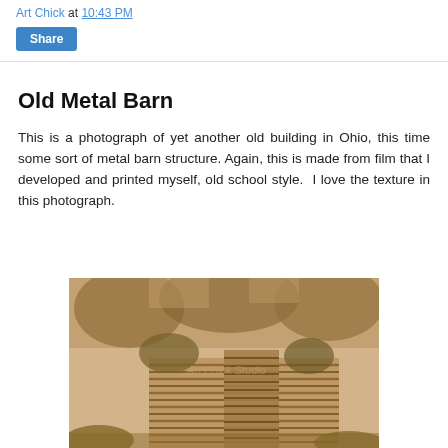Art Chick at 10:43 PM
Share
Old Metal Barn
This is a photograph of yet another old building in Ohio, this time some sort of metal barn structure. Again, this is made from film that I developed and printed myself, old school style.  I love the texture in this photograph.
[Figure (photo): Sepia-toned photograph of an old metal barn structure surrounded by trees and vegetation in Ohio. The barn shows corrugated metal siding. A watermark reads 'Art Chick Studio'.]